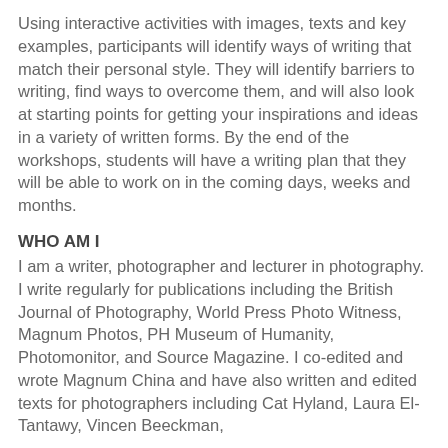Using interactive activities with images, texts and key examples, participants will identify ways of writing that match their personal style. They will identify barriers to writing, find ways to overcome them, and will also look at starting points for getting your inspirations and ideas in a variety of written forms. By the end of the workshops, students will have a writing plan that they will be able to work on in the coming days, weeks and months.
WHO AM I
I am a writer, photographer and lecturer in photography. I write regularly for publications including the British Journal of Photography, World Press Photo Witness, Magnum Photos, PH Museum of Humanity, Photomonitor, and Source Magazine. I co-edited and wrote Magnum China and have also written and edited texts for photographers including Cat Hyland, Laura El-Tantawy, Vincen Beeckman,